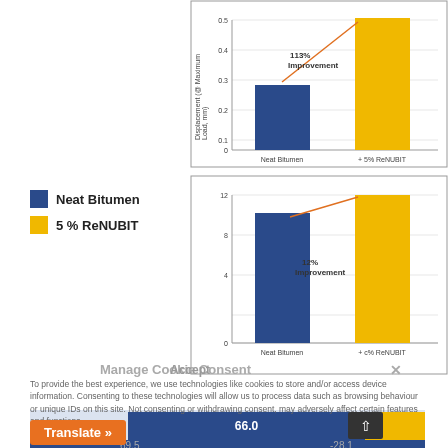[Figure (bar-chart): Displacement @ Maximum Load]
Neat Bitumen
5 % ReNUBIT
[Figure (bar-chart): ]
Manage Cookie Consent
To provide the best experience, we use technologies like cookies to store and/or access device information. Consenting to these technologies will allow us to process data such as browsing behaviour or unique IDs on this site. Not consenting or withdrawing consent, may adversely affect certain features and functions.
| Base Binder | 66.0 |  |
| --- | --- | --- |
|  | 69.5 | -28.1 |
Accept
Translate »